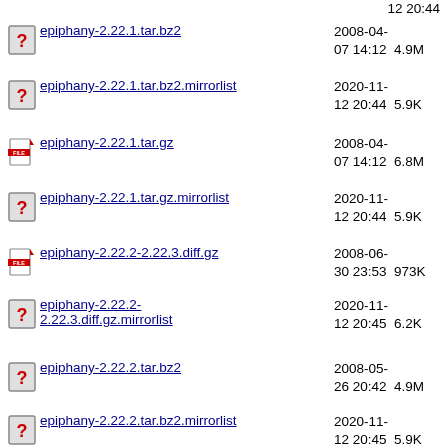epiphany-2.22.1.tar.bz2  2008-04-07 14:12  4.9M
epiphany-2.22.1.tar.bz2.mirrorlist  2020-11-12 20:44  5.9K
epiphany-2.22.1.tar.gz  2008-04-07 14:12  6.8M
epiphany-2.22.1.tar.gz.mirrorlist  2020-11-12 20:44  5.9K
epiphany-2.22.2-2.22.3.diff.gz  2008-06-30 23:53  973K
epiphany-2.22.2-2.22.3.diff.gz.mirrorlist  2020-11-12 20:45  6.2K
epiphany-2.22.2.tar.bz2  2008-05-26 20:42  4.9M
epiphany-2.22.2.tar.bz2.mirrorlist  2020-11-12 20:45  5.9K
epiphany-2.22.2.tar.gz  2008-05-26 20:42  6.8M
epiphany-2.22.2.tar.gz.mirrorlist  2020-11-12 20:45  5.9K
epiphany-2.22.3.tar.bz2  2008-06-30 23:52  5.5M